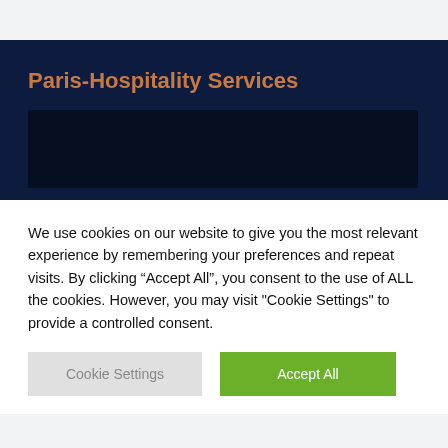Paris-Hospitality Services
[Figure (screenshot): Dark navy website banner with a darker inner content area]
We use cookies on our website to give you the most relevant experience by remembering your preferences and repeat visits. By clicking “Accept All”, you consent to the use of ALL the cookies. However, you may visit "Cookie Settings" to provide a controlled consent.
Cookie Settings
Accept All